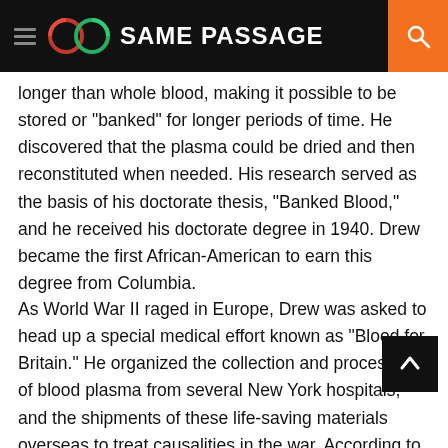SAME PASSAGE
longer than whole blood, making it possible to be stored or “banked” for longer periods of time. He discovered that the plasma could be dried and then reconstituted when needed. His research served as the basis of his doctorate thesis, “Banked Blood,” and he received his doctorate degree in 1940. Drew became the first African-American to earn this degree from Columbia.
As World War II raged in Europe, Drew was asked to head up a special medical effort known as “Blood for Britain.” He organized the collection and processing of blood plasma from several New York hospitals, and the shipments of these life-saving materials overseas to treat causalities in the war. According to one report, Drew helped collect roughly 14,500 pints of plasma.
In 1941, Drew spearheaded another blood bank effort, this